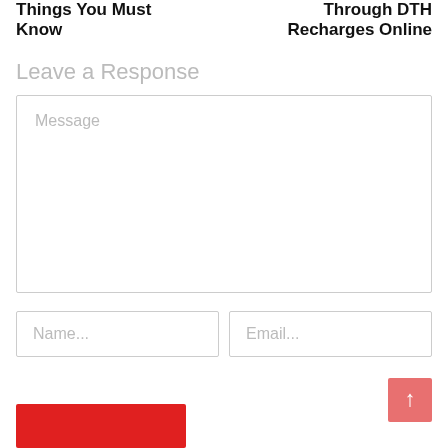Things You Must Know
Through DTH Recharges Online
Leave a Response
Message
Name...
Email...